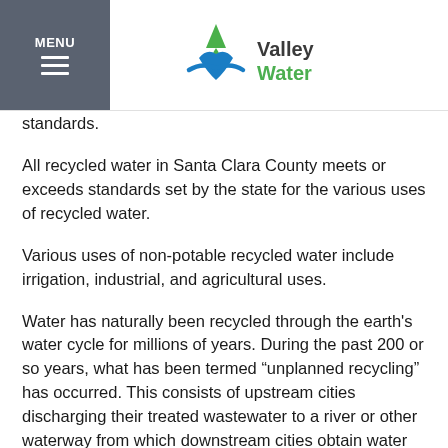MENU | Valley Water
standards.
All recycled water in Santa Clara County meets or exceeds standards set by the state for the various uses of recycled water.
Various uses of non-potable recycled water include irrigation, industrial, and agricultural uses.
Water has naturally been recycled through the earth's water cycle for millions of years. During the past 200 or so years, what has been termed “unplanned recycling” has occurred. This consists of upstream cities discharging their treated wastewater to a river or other waterway from which downstream cities obtain water for treatment to drinking water standards. For example, the